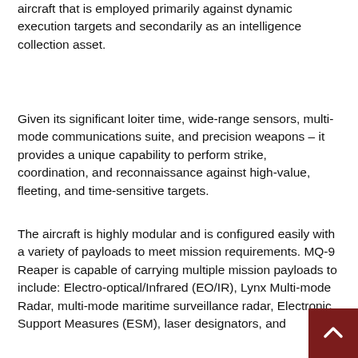aircraft that is employed primarily against dynamic execution targets and secondarily as an intelligence collection asset.
Given its significant loiter time, wide-range sensors, multi-mode communications suite, and precision weapons – it provides a unique capability to perform strike, coordination, and reconnaissance against high-value, fleeting, and time-sensitive targets.
The aircraft is highly modular and is configured easily with a variety of payloads to meet mission requirements. MQ-9 Reaper is capable of carrying multiple mission payloads to include: Electro-optical/Infrared (EO/IR), Lynx Multi-mode Radar, multi-mode maritime surveillance radar, Electronic Support Measures (ESM), laser designators, and